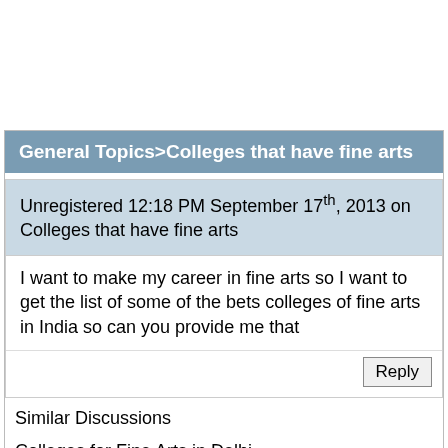General Topics>Colleges that have fine arts
Unregistered 12:18 PM September 17th, 2013 on Colleges that have fine arts
I want to make my career in fine arts so I want to get the list of some of the bets colleges of fine arts in India so can you provide me that
Similar Discussions
Colleges for Fine Arts in Delhi
Colleges of fine arts in Kolkata
Fine Arts Colleges In Vizag
Colleges that Specialize in Fine Arts